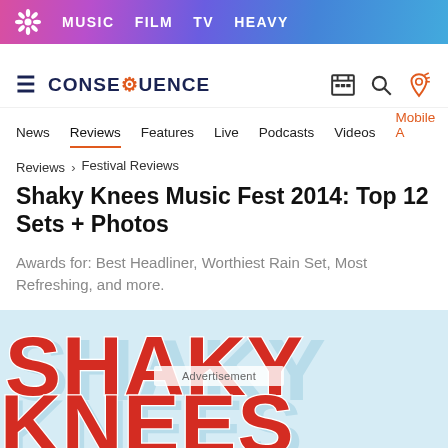MUSIC  FILM  TV  HEAVY
[Figure (screenshot): Consequence of Sound website navigation with logo, hamburger menu, search and tag icons]
News  Reviews  Features  Live  Podcasts  Videos  Mobile A
Reviews > Festival Reviews
Shaky Knees Music Fest 2014: Top 12 Sets + Photos
Awards for: Best Headliner, Worthiest Rain Set, Most Refreshing, and more.
[Figure (photo): Shaky Knees festival logo in large red stylized block letters on light blue background with shadow effect, partially showing 'SHAKY KNEES']
Advertisement